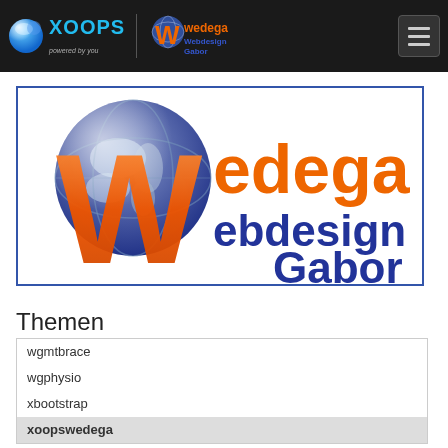XOOPS powered by you | Wedega Webdesign Gabor | Navigation menu
[Figure (logo): Wedega Webdesign Gabor logo — large orange W with globe, orange text 'wedega' and blue text 'ebdesign Gabor', inside blue-bordered white box]
Themen
wgmtbrace
wgphysio
xbootstrap
xoopswedega